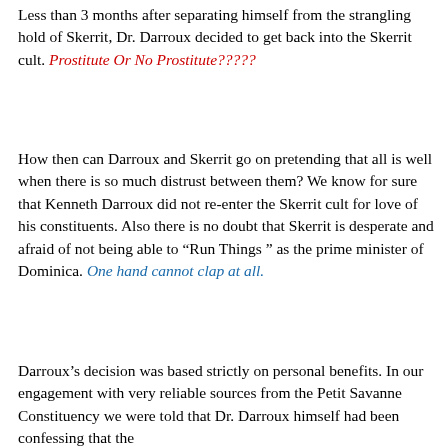Less than 3 months after separating himself from the strangling hold of Skerrit, Dr. Darroux decided to get back into the Skerrit cult. Prostitute Or No Prostitute?????
How then can Darroux and Skerrit go on pretending that all is well when there is so much distrust between them? We know for sure that Kenneth Darroux did not re-enter the Skerrit cult for love of his constituents. Also there is no doubt that Skerrit is desperate and afraid of not being able to “Run Things ” as the prime minister of Dominica. One hand cannot clap at all.
Darroux’s decision was based strictly on personal benefits. In our engagement with very reliable sources from the Petit Savanne Constituency we were told that Dr. Darroux himself had been confessing that the